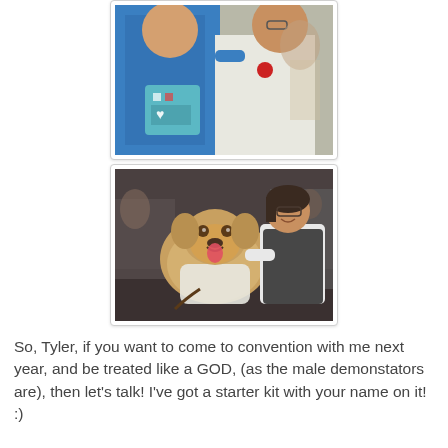[Figure (photo): Two women posing together indoors at a convention; one in blue top wearing a lanyard with pins and holding a small decorated box, the other in white top. People visible in background.]
[Figure (photo): A woman in a white top crouching and hugging a golden retriever dog wearing a white vest/shirt, at an indoor event venue.]
So, Tyler, if you want to come to convention with me next year, and be treated like a GOD, (as the male demonstators are), then let's talk! I've got a starter kit with your name on it! :)